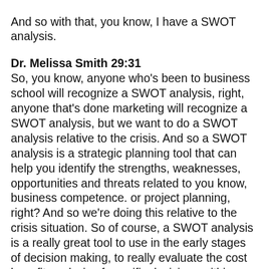And so with that, you know, I have a SWOT analysis.
Dr. Melissa Smith 29:31
So, you know, anyone who's been to business school will recognize a SWOT analysis, right, anyone that's done marketing will recognize a SWOT analysis, but we want to do a SWOT analysis relative to the crisis. And so a SWOT analysis is a strategic planning tool that can help you identify the strengths, weaknesses, opportunities and threats related to you know, business competence. or project planning, right? And so we're doing this relative to the crisis situation. So of course, a SWOT analysis is a really great tool to use in the early stages of decision making, to really evaluate the cost benefit analysis of specific decisions within a specific context. And so that's really what we're thinking about. And the context is this crisis situation, right? Like, what are the risks of doing nothing? What are the risks of doing this? And so it's really very helpful in that it helps you to look at both the internal and external factors to help you determine